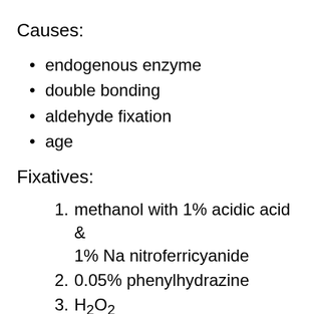Causes:
endogenous enzyme
double bonding
aldehyde fixation
age
Fixatives:
1. methanol with 1% acidic acid & 1% Na nitroferricyanide
2. 0.05% phenylhydrazine
3. H2O2